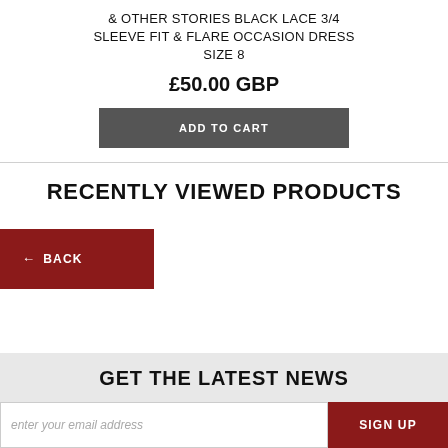& OTHER STORIES BLACK LACE 3/4 SLEEVE FIT & FLARE OCCASION DRESS SIZE 8
£50.00 GBP
ADD TO CART
RECENTLY VIEWED PRODUCTS
← BACK
GET THE LATEST NEWS
enter your email address
SIGN UP